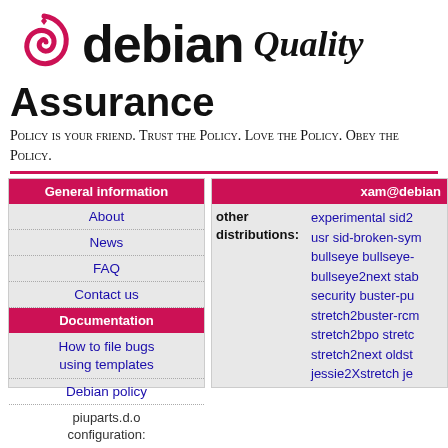[Figure (logo): Debian swirl logo in red]
debian Quality Assurance
Policy is your friend. Trust the Policy. Love the Policy. Obey the Policy.
| General information |
| --- |
| About |
| News |
| FAQ |
| Contact us |
| Documentation |
| --- |
| How to file bugs using templates |
| Debian policy |
| piuparts.d.o configuration: |
| xam@debian |
| --- |
| other distributions: | experimental sid2 usr sid-broken-sym bullseye bullseye- bullseye2next stab security buster-pu stretch2buster-rcm stretch2bpo stretc stretch2next oldst jessie2Xstretch je lts2stretch jessie2 rcmd jessie-secu wheezy2jessie-rc wheezy-security s |